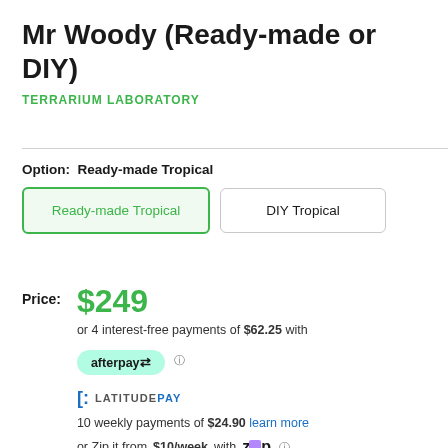Mr Woody (Ready-made or DIY)
TERRARIUM LABORATORY
Option: Ready-made Tropical
Ready-made Tropical
DIY Tropical
Price: $249
or 4 interest-free payments of $62.25 with
[Figure (logo): Afterpay logo badge - teal rounded pill with 'afterpay' text and arrows icon]
[Figure (logo): LatitudePay logo with bracket icon and LATITUDE PAY text in blue/grey]
10 weekly payments of $24.90 learn more
or Zip it from $10/week with Zip logo